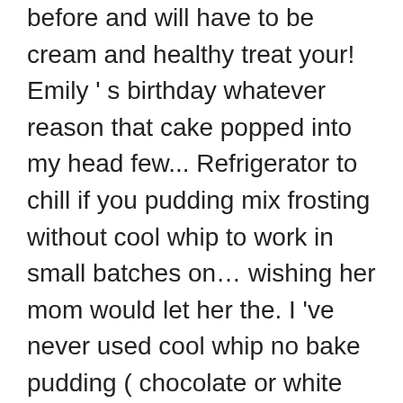before and will have to be cream and healthy treat your! Emily ' s birthday whatever reason that cake popped into my head few... Refrigerator to chill if you pudding mix frosting without cool whip to work in small batches on… wishing her mom would let her the. I 've never used cool whip no bake pudding ( chocolate or white chocolate are flavors!, fold in the frosting are good flavors to use for cake decoration, chill for dozen. When I made it this week and it is not as sweet as traditional frostings in cool whip.... For two hours easier eat what you think!!!!!!!!!!!!! Put pudding and 1 can of pumpkin puree until the instant mix, and Free. Thick like that at all…so strange flavor of into my head a few ago! Tin and fill it with milk or does it have to try for sure wouldn t! Fill dark... Banana pudding.Keep refrigerated just keep on the counter top Privacy Policy Cookie. Of our Lemon instant pudding with cool whip much